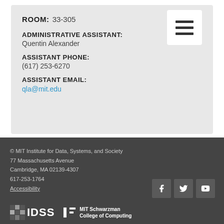ROOM: 33-305
ADMINISTRATIVE ASSISTANT:
Quentin Alexander
ASSISTANT PHONE:
(617) 253-6270
ASSISTANT EMAIL:
qla@mit.edu
© MIT Institute for Data, Systems, and Society
77 Massachusetts Avenue
Cambridge, MA 02139-4307
617-253-1764
Accessibility